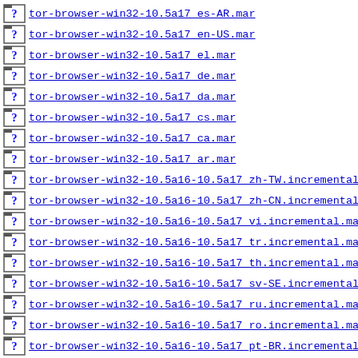tor-browser-win32-10.5a17_es-AR.mar
tor-browser-win32-10.5a17_en-US.mar
tor-browser-win32-10.5a17_el.mar
tor-browser-win32-10.5a17_de.mar
tor-browser-win32-10.5a17_da.mar
tor-browser-win32-10.5a17_cs.mar
tor-browser-win32-10.5a17_ca.mar
tor-browser-win32-10.5a17_ar.mar
tor-browser-win32-10.5a16-10.5a17_zh-TW.incremental.m
tor-browser-win32-10.5a16-10.5a17_zh-CN.incremental.m
tor-browser-win32-10.5a16-10.5a17_vi.incremental.mar
tor-browser-win32-10.5a16-10.5a17_tr.incremental.mar
tor-browser-win32-10.5a16-10.5a17_th.incremental.mar
tor-browser-win32-10.5a16-10.5a17_sv-SE.incremental.m
tor-browser-win32-10.5a16-10.5a17_ru.incremental.mar
tor-browser-win32-10.5a16-10.5a17_ro.incremental.mar
tor-browser-win32-10.5a16-10.5a17_pt-BR.incremental.m